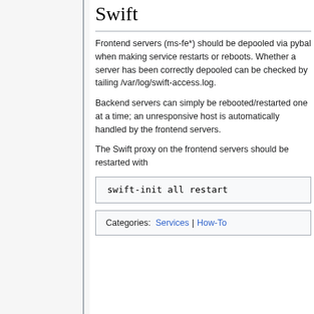Swift
Frontend servers (ms-fe*) should be depooled via pybal when making service restarts or reboots. Whether a server has been correctly depooled can be checked by tailing /var/log/swift-access.log.
Backend servers can simply be rebooted/restarted one at a time; an unresponsive host is automatically handled by the frontend servers.
The Swift proxy on the frontend servers should be restarted with
swift-init all restart
Categories:  Services  |  How-To